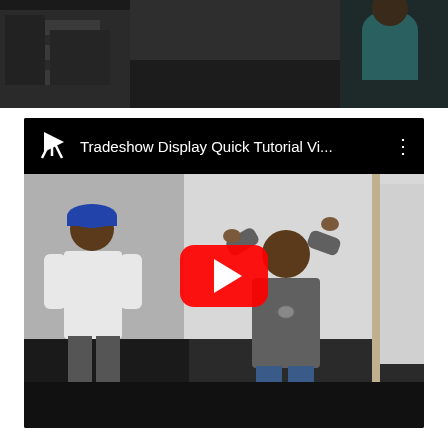[Figure (screenshot): Top portion of a video page showing a partial scene of workers in a warehouse/indoor space, dark background, one person in teal shirt visible at top]
[Figure (screenshot): Embedded YouTube video player showing two workers assembling a tradeshow display against a white wall. One man in white t-shirt on the left, another man in grey shirt working on the upper part of the display. A YouTube play button overlay is centered. The top bar shows a YouTube icon, the title 'Tradeshow Display Quick Tutorial Vi...' and a three-dot menu icon. Bottom bar is black.]